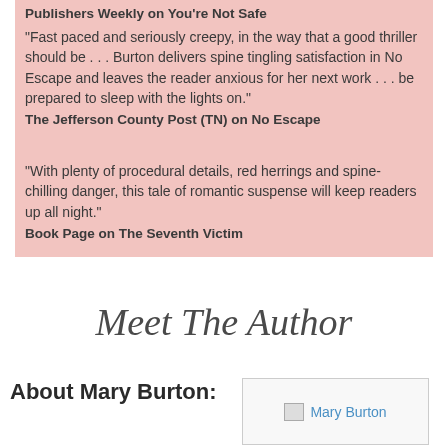Publishers Weekly on You’re Not Safe
"Fast paced and seriously creepy, in the way that a good thriller should be . . . Burton delivers spine tingling satisfaction in No Escape and leaves the reader anxious for her next work . . . be prepared to sleep with the lights on."
The Jefferson County Post (TN) on No Escape
“With plenty of procedural details, red herrings and spine-chilling danger, this tale of romantic suspense will keep readers up all night."
Book Page on The Seventh Victim
Meet The Author
About Mary Burton:
[Figure (photo): Photo of Mary Burton author]